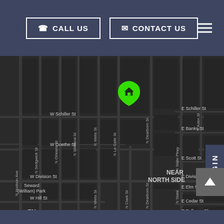[Figure (other): Navigation header with Call Us button, Contact Us button, and hamburger menu on dark blue background]
[Figure (map): Dark-themed street map of Chicago Near North Side / Gold Coast neighborhood with a green location pin marker showing street names including N La Salle St, N Dearborn St, N Wells St, N Clark St, W Schiller St, W Goethe St, W Division St, E Banks St, E Scott St, E Division St, E Elm St, E Cedar St, E Bellevue Pl, GOLD COAST label, NEAR NORTH SIDE label, Seward (William) Park label]
LOGIN